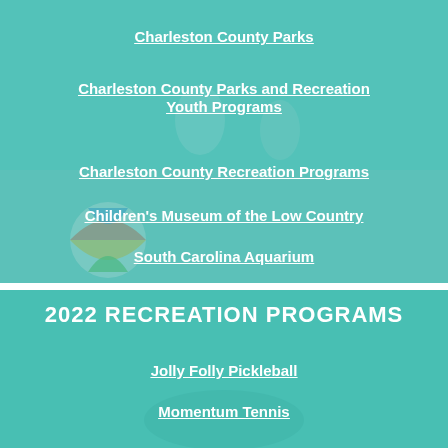Charleston County Parks
Charleston County Parks and Recreation Youth Programs
Charleston County Recreation Programs
Children's Museum of the Low Country
South Carolina Aquarium
2022 RECREATION PROGRAMS
Jolly Folly Pickleball
Momentum Tennis